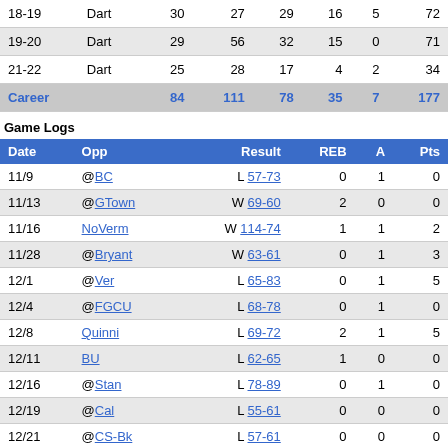|  |  |  |  |  |  |  |
| --- | --- | --- | --- | --- | --- | --- |
| 18-19 | Dart | 30 | 27 | 29 | 16 | 5 | 72 |
| 19-20 | Dart | 29 | 56 | 32 | 15 | 0 | 71 |
| 21-22 | Dart | 25 | 28 | 17 | 4 | 2 | 34 |
| Career |  | 84 | 111 | 78 | 35 | 7 | 177 |
Game Logs
| Date | Opp | Result | REB | A | Pts |
| --- | --- | --- | --- | --- | --- |
| 11/9 | @BC | L 57-73 | 0 | 1 | 0 |
| 11/13 | @GTown | W 69-60 | 2 | 0 | 0 |
| 11/16 | NoVerm | W 114-74 | 1 | 1 | 2 |
| 11/28 | @Bryant | W 63-61 | 0 | 1 | 3 |
| 12/1 | @Ver | L 65-83 | 0 | 1 | 5 |
| 12/4 | @FGCU | L 68-78 | 0 | 1 | 0 |
| 12/8 | Quinni | L 69-72 | 2 | 1 | 5 |
| 12/11 | BU | L 62-65 | 1 | 0 | 0 |
| 12/16 | @Stan | L 78-89 | 0 | 1 | 0 |
| 12/19 | @Cal | L 55-61 | 0 | 0 | 0 |
| 12/21 | @CS-Bk | L 57-61 | 0 | 0 | 0 |
| 1/2 | @Cor | L 71-79 | 2 | 2 | 2 |